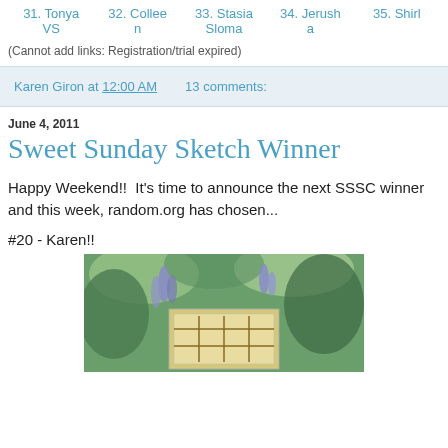31. Tonya VS
32. Colleen
33. Stasia Sloma
34. Jerusha
35. Shirl
(Cannot add links: Registration/trial expired)
Karen Giron at 12:00 AM    13 comments:
June 4, 2011
Sweet Sunday Sketch Winner
Happy Weekend!!  It's time to announce the next SSSC winner and this week, random.org has chosen...
#20 - Karen!!
[Figure (photo): Photo of a handmade greeting card with a grid/lattice design on a light background, surrounded by green foliage and purple flowers]